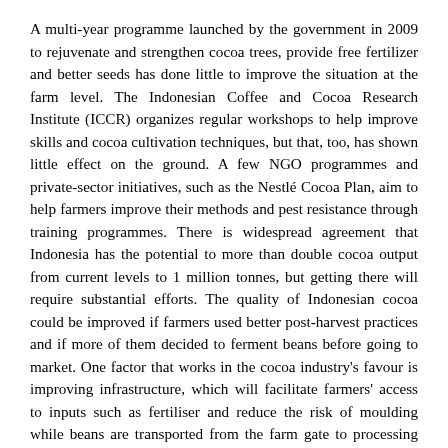A multi-year programme launched by the government in 2009 to rejuvenate and strengthen cocoa trees, provide free fertilizer and better seeds has done little to improve the situation at the farm level. The Indonesian Coffee and Cocoa Research Institute (ICCR) organizes regular workshops to help improve skills and cocoa cultivation techniques, but that, too, has shown little effect on the ground. A few NGO programmes and private-sector initiatives, such as the Nestlé Cocoa Plan, aim to help farmers improve their methods and pest resistance through training programmes. There is widespread agreement that Indonesia has the potential to more than double cocoa output from current levels to 1 million tonnes, but getting there will require substantial efforts. The quality of Indonesian cocoa could be improved if farmers used better post-harvest practices and if more of them decided to ferment beans before going to market. One factor that works in the cocoa industry's favour is improving infrastructure, which will facilitate farmers' access to inputs such as fertiliser and reduce the risk of moulding while beans are transported from the farm gate to processing facilities.
A strategic location for cocoa industries